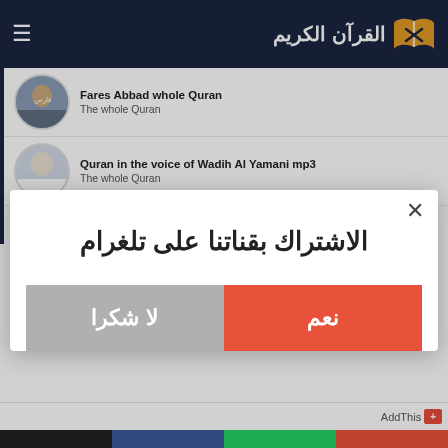القرآن الكريم
Fares Abbad whole Quran — The whole Quran
Quran in the voice of Wadih Al Yamani mp3 — The whole Quran
Sheikh Ahmed Al Ajamy mp3
[Figure (screenshot): Modal dialog with Arabic text 'الاشتراك بقناتنا على تلغرام' (Subscribe to our Telegram channel) and two buttons: 'نعم' (Yes) in orange-red and 'لا شكرا' (No thanks) in gray.]
AddThis